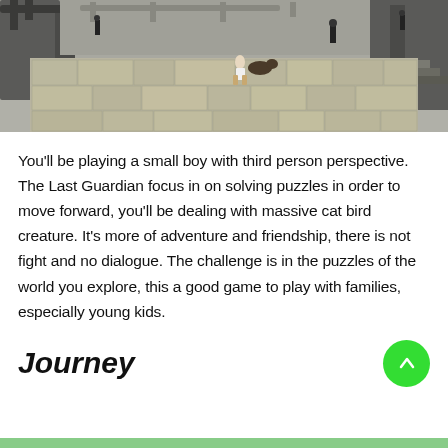[Figure (screenshot): Screenshot from The Last Guardian video game showing a small boy on a large platform made of stone/wooden tiles in a vast industrial or fortress-like environment, third-person perspective view]
You'll be playing a small boy with third person perspective. The Last Guardian focus in on solving puzzles in order to move forward, you'll be dealing with massive cat bird creature. It's more of adventure and friendship, there is not fight and no dialogue. The challenge is in the puzzles of the world you explore, this a good game to play with families, especially young kids.
Journey